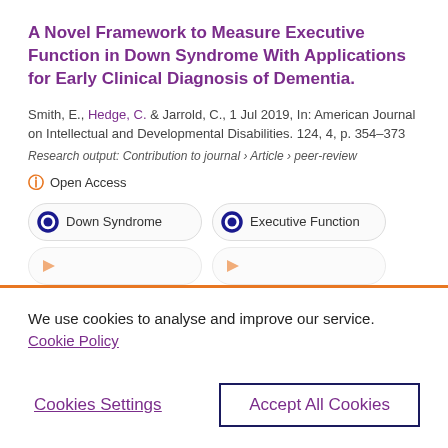A Novel Framework to Measure Executive Function in Down Syndrome With Applications for Early Clinical Diagnosis of Dementia.
Smith, E., Hedge, C. & Jarrold, C., 1 Jul 2019, In: American Journal on Intellectual and Developmental Disabilities. 124, 4, p. 354–373
Research output: Contribution to journal › Article › peer-review
Open Access
Down Syndrome
Executive Function
We use cookies to analyse and improve our service. Cookie Policy
Cookies Settings
Accept All Cookies